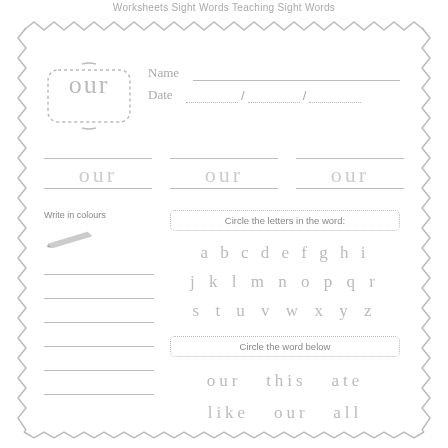Worksheets Sight Words Teaching Sight Words
[Figure (illustration): Decorative zigzag/spring border around worksheet]
our
Name
Date  /  /
our  our  our
Write in colours
[Figure (illustration): Pencil drawing/icon]
Circle the letters in the word:
a b c d e f g h i
j k l m n o p q r
s t u v w x y z
Circle the word below
our  this  ate
like  our  all